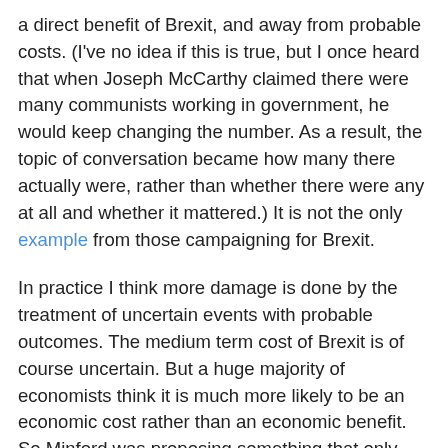a direct benefit of Brexit, and away from probable costs. (I've no idea if this is true, but I once heard that when Joseph McCarthy claimed there were many communists working in government, he would keep changing the number. As a result, the topic of conversation became how many there actually were, rather than whether there were any at all and whether it mattered.) It is not the only example from those campaigning for Brexit.
In practice I think more damage is done by the treatment of uncertain events with probable outcomes. The medium term cost of Brexit is of course uncertain. But a huge majority of economists think it is much more likely to be an economic cost rather than an economic benefit. So Minford was proposing something that only around 5% of UK economists believe. That is widely acknowledged on all sides, so when the BBC or any other media organisation fails to mention that, they distort the truth. Or, to put it another way, it is not balance at all but favours the Leave side. Another example from those campaigning for Brexit is the prospect of Turkey